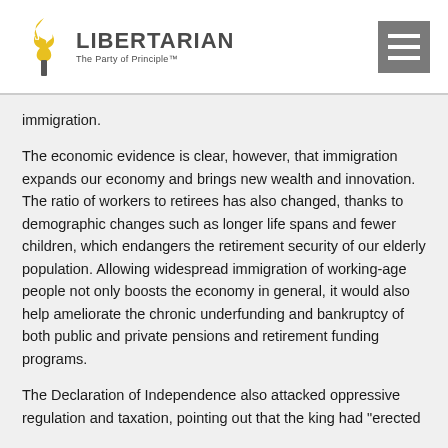LIBERTARIAN The Party of Principle™
immigration.
The economic evidence is clear, however, that immigration expands our economy and brings new wealth and innovation. The ratio of workers to retirees has also changed, thanks to demographic changes such as longer life spans and fewer children, which endangers the retirement security of our elderly population. Allowing widespread immigration of working-age people not only boosts the economy in general, it would also help ameliorate the chronic underfunding and bankruptcy of both public and private pensions and retirement funding programs.
The Declaration of Independence also attacked oppressive regulation and taxation, pointing out that the king had "erected